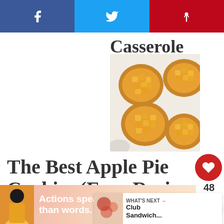Social sharing bar with Facebook, Twitter, Pinterest buttons
Casserole
[Figure (photo): Overhead view of apple pie cookies — small round cookie cups filled with diced caramelized apple chunks, arranged on a white surface with a small bowl of sauce]
The Best Apple Pie Cookies (Easy Recipe
[Figure (infographic): Heart/like button showing 48 likes and a share button]
[Figure (infographic): What's Next banner showing Club Sandwich thumbnail]
[Figure (infographic): Advertisement banner: Actions speak louder than words.]